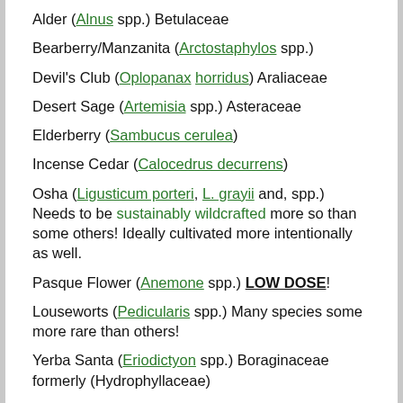Alder (Alnus spp.) Betulaceae
Bearberry/Manzanita (Arctostaphylos spp.)
Devil's Club (Oplopanax horridus) Araliaceae
Desert Sage (Artemisia spp.) Asteraceae
Elderberry (Sambucus cerulea)
Incense Cedar (Calocedrus decurrens)
Osha (Ligusticum porteri, L. grayii and, spp.) Needs to be sustainably wildcrafted more so than some others! Ideally cultivated more intentionally as well.
Pasque Flower (Anemone spp.) LOW DOSE!
Louseworts (Pedicularis spp.) Many species some more rare than others!
Yerba Santa (Eriodictyon spp.) Boraginaceae formerly (Hydrophyllaceae)
Yerba Mansa (Anemopsis californica) Saururaceae